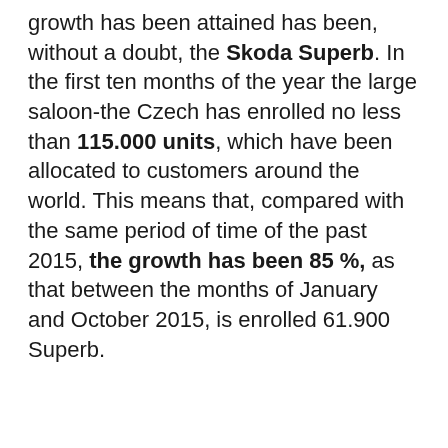growth has been attained has been, without a doubt, the Skoda Superb. In the first ten months of the year the large saloon-the Czech has enrolled no less than 115.000 units, which have been allocated to customers around the world. This means that, compared with the same period of time of the past 2015, the growth has been 85 %, as that between the months of January and October 2015, is enrolled 61.900 Superb.